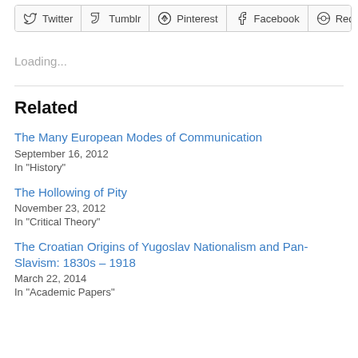[Figure (screenshot): Social share buttons row: Twitter, Tumblr, Pinterest, Facebook, Reddit]
Loading...
Related
The Many European Modes of Communication
September 16, 2012
In "History"
The Hollowing of Pity
November 23, 2012
In "Critical Theory"
The Croatian Origins of Yugoslav Nationalism and Pan-Slavism: 1830s – 1918
March 22, 2014
In "Academic Papers"